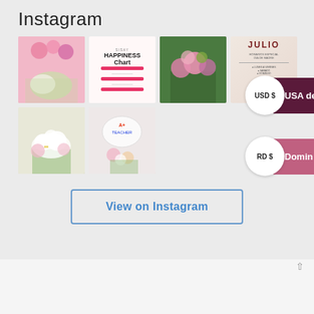Instagram
[Figure (photo): Instagram photo grid showing 6 flower arrangement photos and a promotional graphic. Top row: pink balloons with flower arrangements, Happiness Chart promotional image, colorful flower centerpiece, Julio promotional calendar. Bottom row: white lily arrangement, teacher appreciation balloon with flowers.]
[Figure (infographic): Currency selector overlay - USD $ / USA de button in dark purple]
[Figure (infographic): Currency selector overlay - RD $ / Domin button in mauve/pink]
View on Instagram
[Figure (logo): Three tulip/flower icons in pink]
Plaza Paseo Del Mar, Av. Alemania Bávaro, Tel: (1)809 - 552 - 1231  Email: info@sisayonline.com